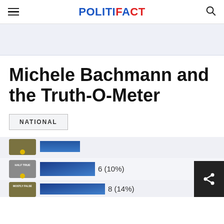POLITIFACT
Michele Bachmann and the Truth-O-Meter
NATIONAL
[Figure (infographic): Partial view of a PolitiFact Truth-O-Meter bar chart showing verdicts for Michele Bachmann. Visible rows include 'Half True' with 6 (10%) and beginning of 'Mostly False' row with 8 (14%). Bars are blue/dark blue gradient on a light background. Share button visible in bottom right.]